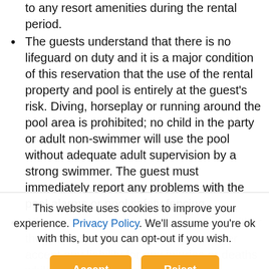to any resort amenities during the rental period.
The guests understand that there is no lifeguard on duty and it is a major condition of this reservation that the use of the rental property and pool is entirely at the guest's risk. Diving, horseplay or running around the pool area is prohibited; no child in the party or adult non-swimmer will use the pool without adequate adult supervision by a strong swimmer. The guest must immediately report any problems with the pool alarms or pool safety fencing.
All guests understand and agree that neither the property owner or property manager accept any liability for any injuries or deaths whilst on the premises.
Reunion Vacation Homes LLC dba Florida Vacation Homes do not accept liability for
This website uses cookies to improve your experience. Privacy Policy. We'll assume you're ok with this, but you can opt-out if you wish.